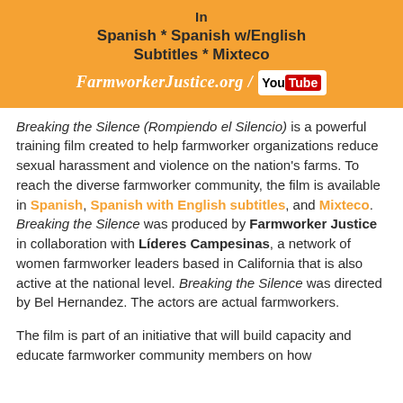[Figure (other): Orange banner with text 'In Spanish * Spanish w/English Subtitles * Mixteco' and 'FarmworkerJustice.org / YouTube']
Breaking the Silence (Rompiendo el Silencio) is a powerful training film created to help farmworker organizations reduce sexual harassment and violence on the nation's farms. To reach the diverse farmworker community, the film is available in Spanish, Spanish with English subtitles, and Mixteco. Breaking the Silence was produced by Farmworker Justice in collaboration with Líderes Campesinas, a network of women farmworker leaders based in California that is also active at the national level. Breaking the Silence was directed by Bel Hernandez. The actors are actual farmworkers.
The film is part of an initiative that will build capacity and educate farmworker community members on how